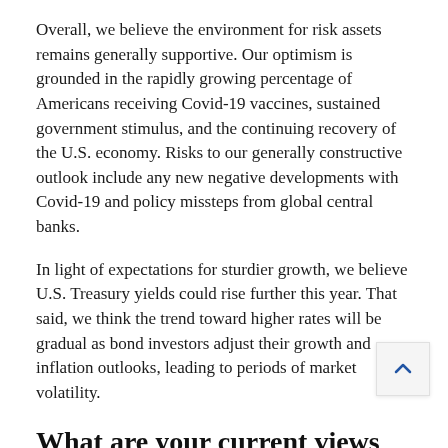Overall, we believe the environment for risk assets remains generally supportive. Our optimism is grounded in the rapidly growing percentage of Americans receiving Covid-19 vaccines, sustained government stimulus, and the continuing recovery of the U.S. economy. Risks to our generally constructive outlook include any new negative developments with Covid-19 and policy missteps from global central banks.
In light of expectations for sturdier growth, we believe U.S. Treasury yields could rise further this year. That said, we think the trend toward higher rates will be gradual as bond investors adjust their growth and inflation outlooks, leading to periods of market volatility.
What are your current views on the various sectors in which the fund invests?
Within this environment, we have a positive outlook for the fundamentals and overall supply and demand backdrop of